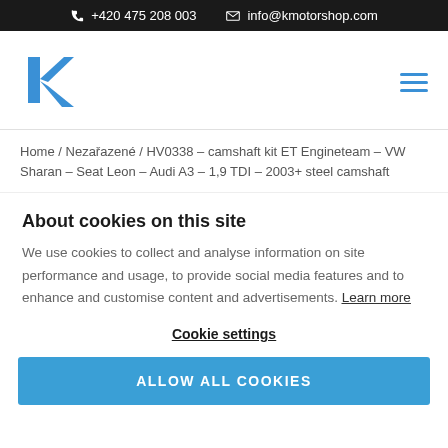+420 475 208 003   info@kmotorshop.com
[Figure (logo): KMotorshop blue logo mark — stylized K letter in blue]
Home / Nezařazené / HV0338 – camshaft kit ET Engineteam – VW Sharan – Seat Leon – Audi A3 – 1,9 TDI – 2003+ steel camshaft
About cookies on this site
We use cookies to collect and analyse information on site performance and usage, to provide social media features and to enhance and customise content and advertisements. Learn more
Cookie settings
ALLOW ALL COOKIES